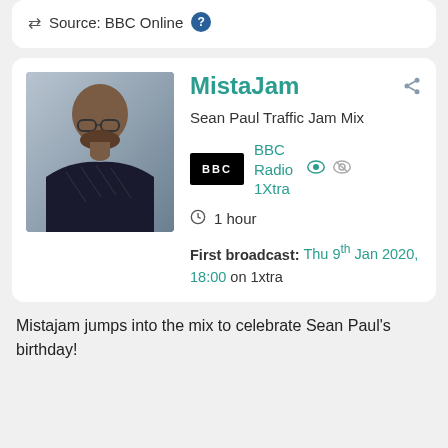Source: BBC Online
[Figure (photo): Portrait photo of MistaJam, a bald man with glasses and a beard wearing a dark patterned shirt]
MistaJam
Sean Paul Traffic Jam Mix
BBC Radio 1Xtra
1 hour
First broadcast: Thu 9th Jan 2020, 18:00 on 1xtra
Mistajam jumps into the mix to celebrate Sean Paul's birthday!